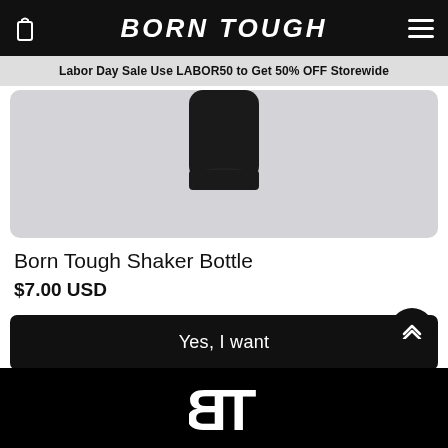BORN TOUGH
Labor Day Sale Use LABOR50 to Get 50% OFF Storewide
[Figure (photo): Black shaker bottle photographed against a light gray/white background]
Born Tough Shaker Bottle
$7.00 USD
Yes, I want
[Figure (logo): Born Tough BT logo in white on black background]